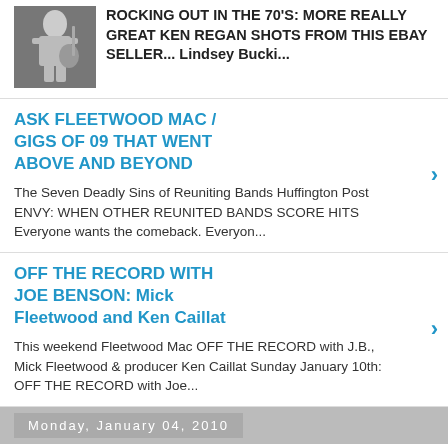[Figure (photo): Black and white photo of a person playing guitar in the 70s]
ROCKING OUT IN THE 70'S: MORE REALLY GREAT KEN REGAN SHOTS FROM THIS EBAY SELLER... Lindsey Bucki...
ASK FLEETWOOD MAC / GIGS OF 09 THAT WENT ABOVE AND BEYOND
The Seven Deadly Sins of Reuniting Bands Huffington Post ENVY: WHEN OTHER REUNITED BANDS SCORE HITS Everyone wants the comeback. Everyon...
OFF THE RECORD WITH JOE BENSON: Mick Fleetwood and Ken Caillat
This weekend Fleetwood Mac OFF THE RECORD with J.B., Mick Fleetwood & producer Ken Caillat Sunday January 10th: OFF THE RECORD with Joe...
Monday, January 04, 2010
NIGHT OF A THOUSAND